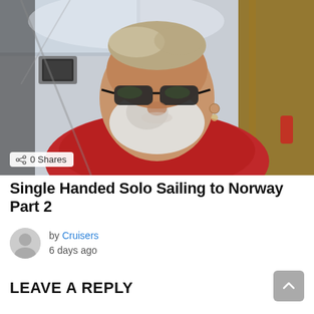[Figure (photo): Close-up selfie of an older man with a white beard and sunglasses, wearing a red sailing jacket, photographed from below on a boat with a skylight visible above.]
0 Shares
Single Handed Solo Sailing to Norway Part 2
by Cruisers
6 days ago
LEAVE A REPLY